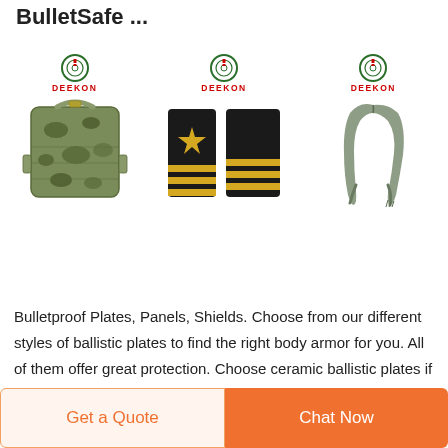BulletSafe ...
[Figure (photo): Three product listings each showing a DEEKON logo (circle icon above red DEEKON text) and a product image: (1) a camouflage tactical molle pouch/bag, (2) two black military shoulder boards/epaulettes with gold star and gold stripes, (3) an olive/grey military scarf or shemagh.]
Bulletproof Plates, Panels, Shields. Choose from our different styles of ballistic plates to find the right body armor for you. All of them offer great protection. Choose ceramic ballistic plates if you want a lightweight plate for a great price. Choose the Alpha Plate if you want the lightest
Get a Quote   Chat Now